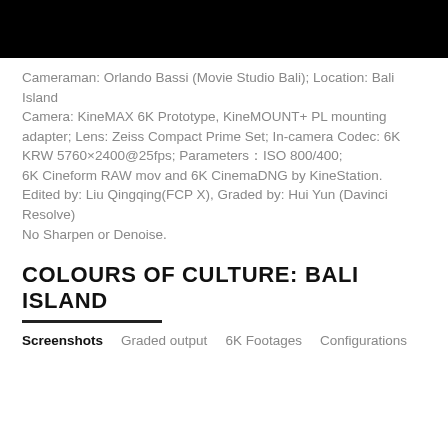[Figure (photo): Black rectangular banner/header area at top of page]
Cameraman: Orlando Bassi (Movie Studio Bali); Location: Bali Island
Camera: KineMAX 6K Prototype, KineMOUNT+ PL mounting adapter; Lens: Zeiss Compact Prime Set; In-camera Codec: 6K KRW 5760×2400@25fps; Parameters：ISO 800/400;
6K Cineform RAW mov and 6K CinemaDNG by KineStation.
Edited by: Liu Qingqing(FCP X), Graded by: Hui Yun (Davinci Resolve)
No Sharpen or Denoise.
COLOURS OF CULTURE: BALI ISLAND
Screenshots  Graded output  6K Footages  Configurations